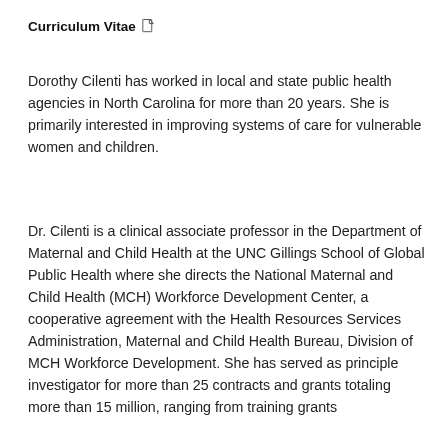Curriculum Vitae
Dorothy Cilenti has worked in local and state public health agencies in North Carolina for more than 20 years. She is primarily interested in improving systems of care for vulnerable women and children.
Dr. Cilenti is a clinical associate professor in the Department of Maternal and Child Health at the UNC Gillings School of Global Public Health where she directs the National Maternal and Child Health (MCH) Workforce Development Center, a cooperative agreement with the Health Resources Services Administration, Maternal and Child Health Bureau, Division of MCH Workforce Development. She has served as principle investigator for more than 25 contracts and grants totaling more than 15 million, ranging from training grants